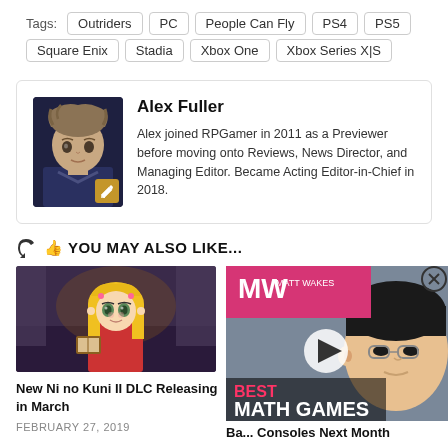Tags: Outriders  PC  People Can Fly  PS4  PS5  Square Enix  Stadia  Xbox One  Xbox Series X|S
Alex Fuller
Alex joined RPGamer in 2011 as a Previewer before moving onto Reviews, News Director, and Managing Editor. Became Acting Editor-in-Chief in 2018.
YOU MAY ALSO LIKE...
New Ni no Kuni II DLC Releasing in March
FEBRUARY 27, 2019
[Figure (photo): Anime character with blonde hair from Ni no Kuni II game]
[Figure (screenshot): Advertisement overlay showing BEST MATH GAMES with MW logo and play button, featuring a Mii-like character face]